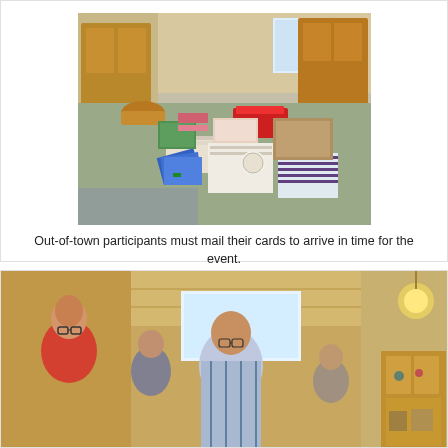[Figure (photo): Indoor photo of a large table covered with a gray tablecloth, covered with various craft cards, papers, and supplies arranged in stacks and groups. Wooden cabinets visible in background.]
Out-of-town participants must mail their cards to arrive in time for the event.
[Figure (photo): Indoor photo of a group of people standing in a room with wood-paneled ceiling. A woman in a red top is visible on the left, and others stand nearby. A lit chandelier and wooden cabinet are visible on the right side.]